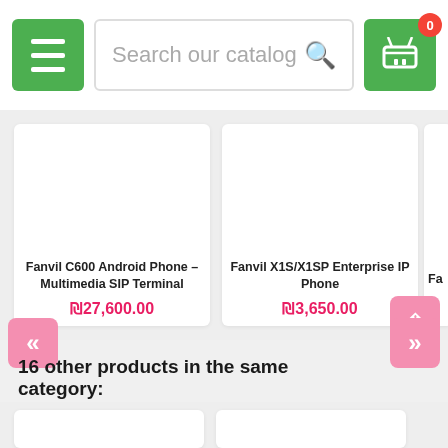[Figure (screenshot): E-commerce website header with hamburger menu, search bar, and cart icon showing 0 items]
[Figure (screenshot): Product card: Fanvil C600 Android Phone – Multimedia SIP Terminal, price ₪27,600.00]
Fanvil C600 Android Phone – Multimedia SIP Terminal
₪27,600.00
[Figure (screenshot): Product card: Fanvil X1S/X1SP Enterprise IP Phone, price ₪3,650.00]
Fanvil X1S/X1SP Enterprise IP Phone
₪3,650.00
Fa
16 other products in the same category:
[Figure (screenshot): Two product image placeholders at the bottom of the page]